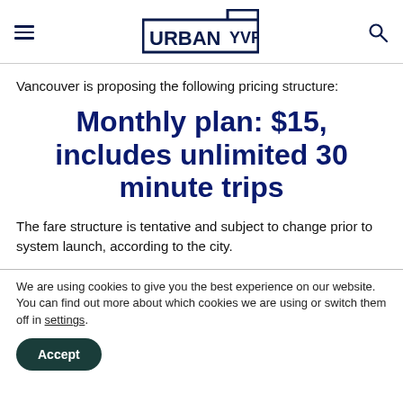URBAN YVR
Vancouver is proposing the following pricing structure:
Monthly plan: $15, includes unlimited 30 minute trips
The fare structure is tentative and subject to change prior to system launch, according to the city.
We are using cookies to give you the best experience on our website.
You can find out more about which cookies we are using or switch them off in settings.
Accept